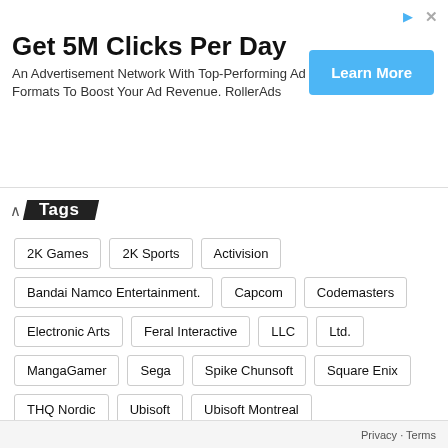[Figure (infographic): Advertisement banner: 'Get 5M Clicks Per Day' with subtitle 'An Advertisement Network With Top-Performing Ad Formats To Boost Your Ad Revenue. RollerAds' and a 'Learn More' button]
Tags
2K Games
2K Sports
Activision
Bandai Namco Entertainment.
Capcom
Codemasters
Electronic Arts
Feral Interactive
LLC
Ltd.
MangaGamer
Sega
Spike Chunsoft
Square Enix
THQ Nordic
Ubisoft
Ubisoft Montreal
Xbox Game Studios
Privacy · Terms